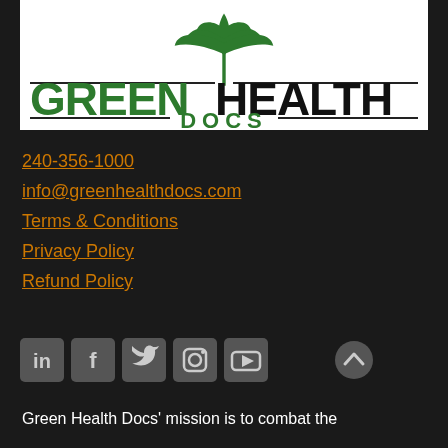[Figure (logo): Green Health Docs logo with cannabis leaf on top and company name below]
240-356-1000
info@greenhealthdocs.com
Terms & Conditions
Privacy Policy
Refund Policy
[Figure (illustration): Social media icons: LinkedIn, Facebook, Twitter, Instagram, YouTube]
Green Health Docs' mission is to combat the